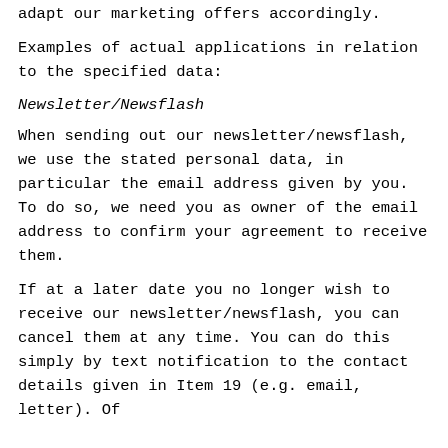adapt our marketing offers accordingly.
Examples of actual applications in relation to the specified data:
Newsletter/Newsflash
When sending out our newsletter/newsflash, we use the stated personal data, in particular the email address given by you. To do so, we need you as owner of the email address to confirm your agreement to receive them.
If at a later date you no longer wish to receive our newsletter/newsflash, you can cancel them at any time. You can do this simply by text notification to the contact details given in Item 19 (e.g. email, letter). Of